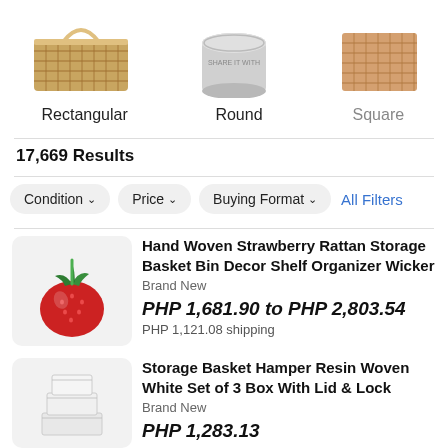[Figure (photo): Three product category thumbnails: rectangular wicker basket, round silver lid canister, square woven basket]
Rectangular    Round    Square
17,669 Results
Condition ∨    Price ∨    Buying Format ∨    All Filters
[Figure (photo): Red strawberry-shaped hand woven rattan storage basket product photo]
Hand Woven Strawberry Rattan Storage Basket Bin Decor Shelf Organizer Wicker
Brand New
PHP 1,681.90 to PHP 2,803.54
PHP 1,121.08 shipping
[Figure (photo): White resin woven storage basket set of 3 boxes with lids product photo]
Storage Basket Hamper Resin Woven White Set of 3 Box With Lid & Lock
Brand New
PHP 1,283.13